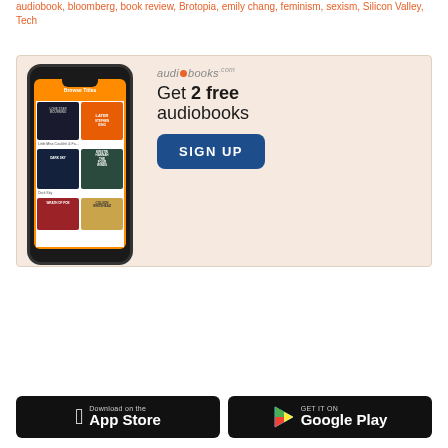audiobook, bloomberg, book review, Brotopia, emily chang, feminism, sexism, Silicon Valley, Tech
[Figure (illustration): Advertisement banner for audiobooks.com showing a smartphone with book covers displayed on screen, logo, 'Get 2 free audiobooks' text, and a 'SIGN UP' button on a peach/salmon background]
[Figure (illustration): Two app store download buttons side by side: 'Download on the App Store' (Apple) and 'GET IT ON Google Play', both on black rounded rectangle backgrounds]